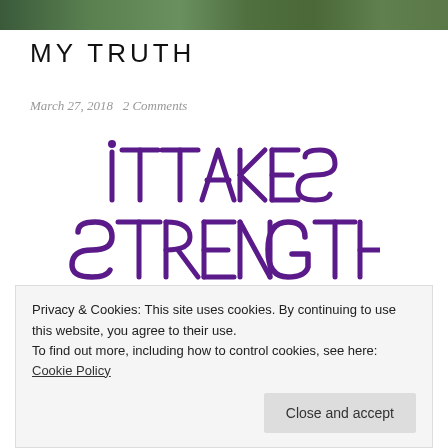[Figure (photo): Top banner photo of outdoor greenery/nature scene]
MY TRUTH
March 27, 2018   2 Comments
[Figure (illustration): Decorative typography illustration in purple reading 'it takes strength to break' in artistic lettered style]
Privacy & Cookies: This site uses cookies. By continuing to use this website, you agree to their use.
To find out more, including how to control cookies, see here: Cookie Policy
Close and accept